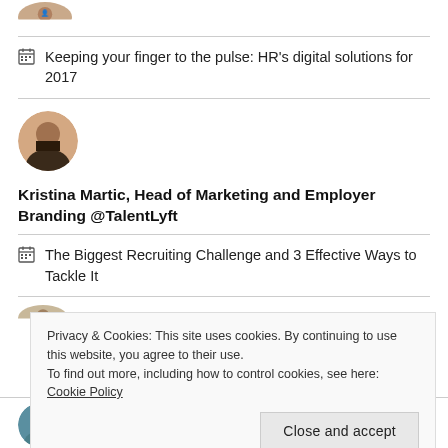[Figure (photo): Partial circular avatar photo at top, cropped]
Keeping your finger to the pulse: HR's digital solutions for 2017
[Figure (photo): Circular avatar photo of Kristina Martic]
Kristina Martic, Head of Marketing and Employer Branding @TalentLyft
The Biggest Recruiting Challenge and 3 Effective Ways to Tackle It
Privacy & Cookies: This site uses cookies. By continuing to use this website, you agree to their use. To find out more, including how to control cookies, see here: Cookie Policy
Close and accept
[Figure (photo): Partial circular avatar photo of Chloe Smith at bottom]